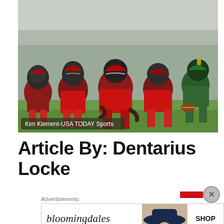[Figure (photo): NFL football players in red and gray Tampa Bay Buccaneers uniforms lined up at the line of scrimmage against New York Jets players in green and white uniforms. Action shot from a game.]
Kim Klement-USA TODAY Sports
Article By: Dentarius Locke
Advertisements
[Figure (screenshot): Bloomingdale's advertisement banner: 'bloomingdales / View Today's Top Deals!' with a woman wearing a large hat and 'SHOP NOW >' button]